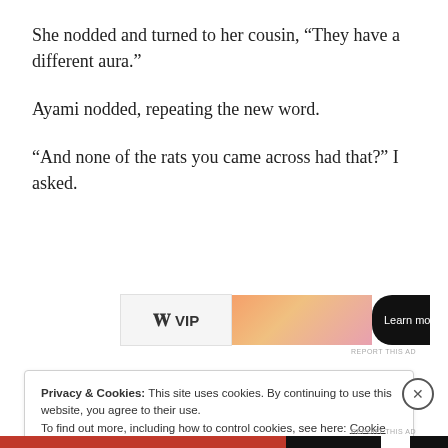She nodded and turned to her cousin, “They have a different aura.”
Ayami nodded, repeating the new word.
“And none of the rats you came across had that?” I asked.
[Figure (other): Advertisement banner with W VIP logo, orange-pink gradient, and Learn more button]
Privacy & Cookies: This site uses cookies. By continuing to use this website, you agree to their use.
To find out more, including how to control cookies, see here: Cookie Policy
Close and accept